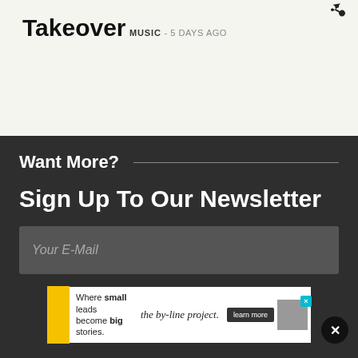Takeover
MUSIC - 5 DAYS AGO
Want More?
Sign Up To Our Newsletter
Your E-Mail
[Figure (other): Advertisement banner: 'Where small leads become big stories. the by-line project. learn more']
X (close button)